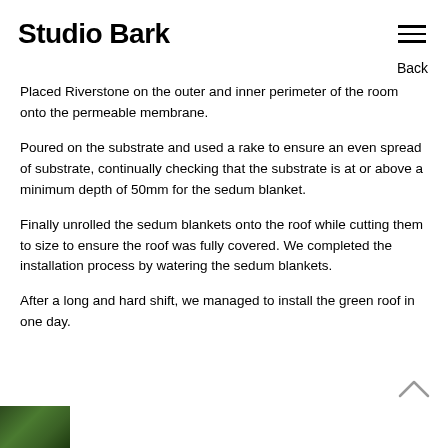Studio Bark
Back
Placed Riverstone on the outer and inner perimeter of the room onto the permeable membrane.
Poured on the substrate and used a rake to ensure an even spread of substrate, continually checking that the substrate is at or above a minimum depth of 50mm for the sedum blanket.
Finally unrolled the sedum blankets onto the roof while cutting them to size to ensure the roof was fully covered. We completed the installation process by watering the sedum blankets.
After a long and hard shift, we managed to install the green roof in one day.
[Figure (photo): Partial thumbnail of a green roof or garden photo at bottom left corner]